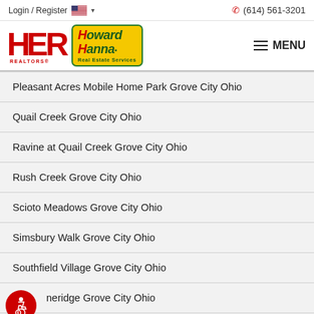Login / Register | (614) 561-3201
[Figure (logo): HER Realtors and Howard Hanna Real Estate Services logos with MENU button]
Pleasant Acres Mobile Home Park Grove City Ohio
Quail Creek Grove City Ohio
Ravine at Quail Creek Grove City Ohio
Rush Creek Grove City Ohio
Scioto Meadows Grove City Ohio
Simsbury Walk Grove City Ohio
Southfield Village Grove City Ohio
...neridge Grove City Ohio
...s Place Grove City Ohio (partial)